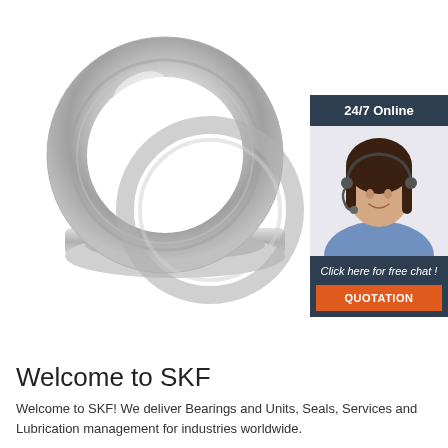[Figure (illustration): Two stainless steel bearing rings (open ball bearings) shown overlapping — one upright ring and one flat base ring, silver/chrome metallic finish on white background]
[Figure (illustration): 24/7 Online customer service widget showing a smiling woman with a headset, dark navy background, 'Click here for free chat!' text, and an orange QUOTATION button]
Welcome to SKF
Welcome to SKF! We deliver Bearings and Units, Seals, Services and Lubrication management for industries worldwide.